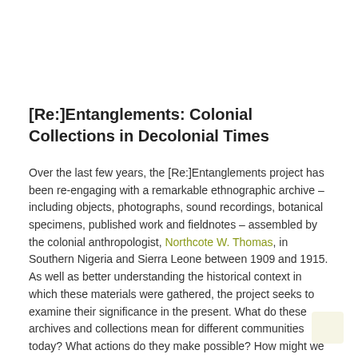[Re:]Entanglements: Colonial Collections in Decolonial Times
Over the last few years, the [Re:]Entanglements project has been re-engaging with a remarkable ethnographic archive – including objects, photographs, sound recordings, botanical specimens, published work and fieldnotes – assembled by the colonial anthropologist, Northcote W. Thomas, in Southern Nigeria and Sierra Leone between 1909 and 1915. As well as better understanding the historical context in which these materials were gathered, the project seeks to examine their significance in the present. What do these archives and collections mean for different communities today? What actions do they make possible? How might we creatively explore their latent possibilities?